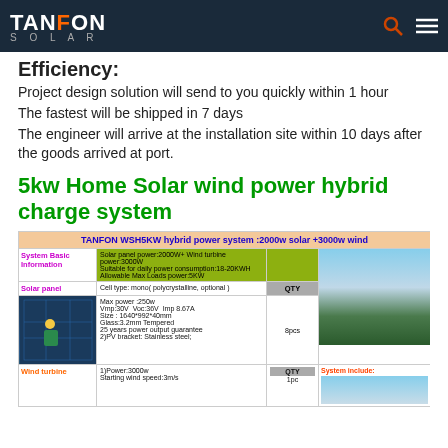TANFON SOLAR
Efficiency:
Project design solution will send to you quickly within 1 hour
The fastest will be shipped in 7 days
The engineer will arrive at the installation site within 10 days after the goods arrived at port.
5kw Home Solar wind power hybrid charge system
| TANFON WSH5KW hybrid power system :2000w solar +3000w wind |
| --- |
| System Basic Information | Solar panel power:2000W+ Wind turbine power:3000W
Suitable for daily power consumption:18-20KWH
Allowable Max Loads power:5KW |  | [image] |
| Solar panel | Cell type: mono( polycrystalline, optional ) | QTY |  |
|  | Max power :250w
Vmp:30V  Voc:36V  Imp 8.67A
Size : 1640*992*40mm
Glass:3.2mm Tempered
25 years power output guarantee
2)PV bracket: Stainless steel; | 8pcs | [solar image] |
| Wind turbine | 1)Power:3000w
Starting wind speed:3m/s | QTY
1pc | System include: |